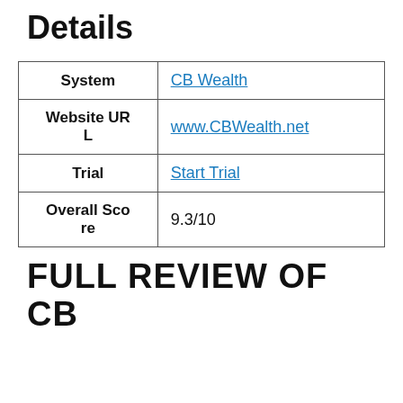Details
| System | CB Wealth |
| Website URL | www.CBWealth.net |
| Trial | Start Trial |
| Overall Score | 9.3/10 |
FULL REVIEW OF CB